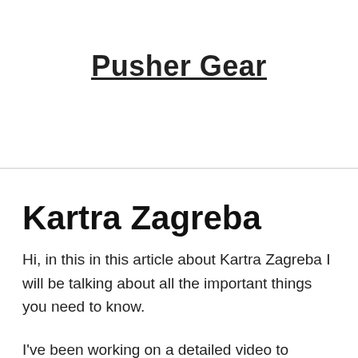Pusher Gear
Kartra Zagreba
Hi, in this in this article about Kartra Zagreba I will be talking about all the important things you need to know.
I've been working on a detailed video to explain